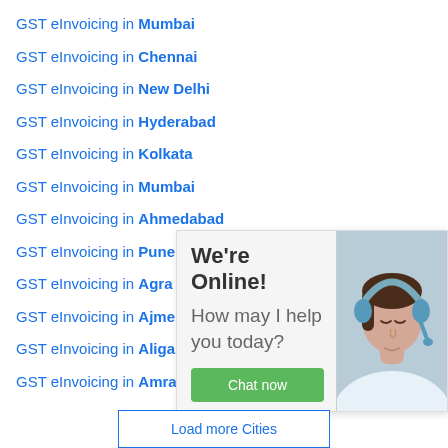GST eInvoicing in Mumbai
GST eInvoicing in Chennai
GST eInvoicing in New Delhi
GST eInvoicing in Hyderabad
GST eInvoicing in Kolkata
GST eInvoicing in Mumbai
GST eInvoicing in Ahmedabad
GST eInvoicing in Pune
GST eInvoicing in Agra
GST eInvoicing in Ajmer
GST eInvoicing in Aligarh
GST eInvoicing in Amravati
[Figure (infographic): Chat widget overlay showing 'We're Online!' heading, 'How may I help you today?' text, a green 'Chat now' button, and a photo of a woman wearing a headset]
Load more Cities